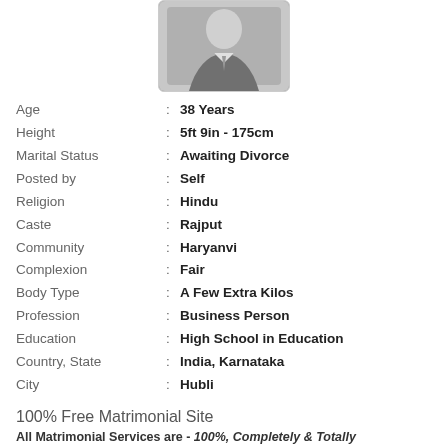[Figure (photo): Profile photo of a person in formal attire, grayscale]
Age : 38 Years
Height : 5ft 9in - 175cm
Marital Status : Awaiting Divorce
Posted by : Self
Religion : Hindu
Caste : Rajput
Community : Haryanvi
Complexion : Fair
Body Type : A Few Extra Kilos
Profession : Business Person
Education : High School in Education
Country, State : India, Karnataka
City : Hubli
100% Free Matrimonial Site
All Matrimonial Services are - 100%, Completely & Totally